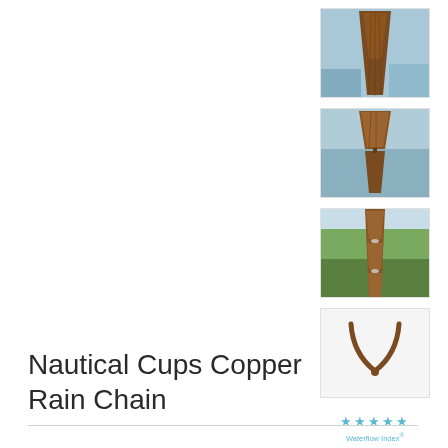[Figure (photo): Thumbnail photo of Nautical Cups Copper Rain Chain close-up view 1]
[Figure (photo): Thumbnail photo of Nautical Cups Copper Rain Chain with water flowing view 2]
[Figure (photo): Thumbnail photo of Nautical Cups Copper Rain Chain outdoor garden view 3]
[Figure (photo): Thumbnail photo of a single copper cup link on white background]
★★★★★ Waterflow Index®
Nautical Cups Copper Rain Chain